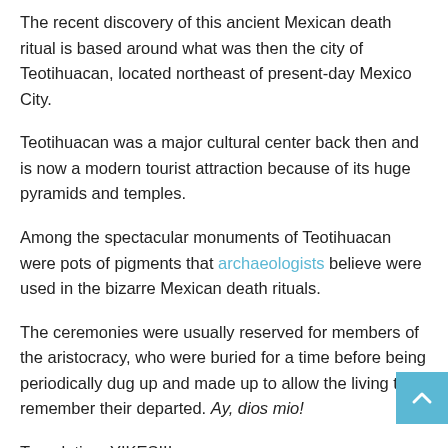The recent discovery of this ancient Mexican death ritual is based around what was then the city of Teotihuacan, located northeast of present-day Mexico City.
Teotihuacan was a major cultural center back then and is now a modern tourist attraction because of its huge pyramids and temples.
Among the spectacular monuments of Teotihuacan were pots of pigments that archaeologists believe were used in the bizarre Mexican death rituals.
The ceremonies were usually reserved for members of the aristocracy, who were buried for a time before being periodically dug up and made up to allow the living to remember their departed. Ay, dios mio!
Translation: YIKES!!!